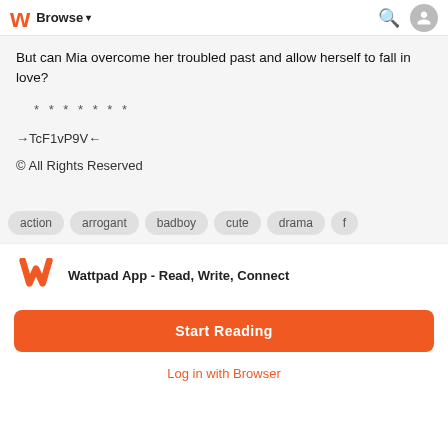Browse
But can Mia overcome her troubled past and allow herself to fall in love?
* * * * * * *
→TcF1vP9V←
© All Rights Reserved
action  arrogant  badboy  cute  drama  f
Wattpad App - Read, Write, Connect
Start Reading
Log in with Browser